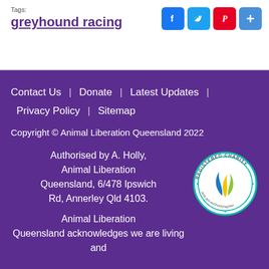Tags:
greyhound racing
[Figure (other): Social media share icons: Facebook (blue), Twitter (light blue), Pinterest (red), Add/Plus (blue)]
Contact Us | Donate | Latest Updates | Privacy Policy | Sitemap
Copyright © Animal Liberation Queensland 2022
Authorised by A. Holly, Animal Liberation Queensland, 6/478 Ipswich Rd, Annerley Qld 4103.
[Figure (logo): ACNC Registered Charity circular badge with blue, green and yellow flame logo. Text: REGISTERED CHARITY · acnc.gov.au/charityregister]
Animal Liberation Queensland acknowledges we are living and